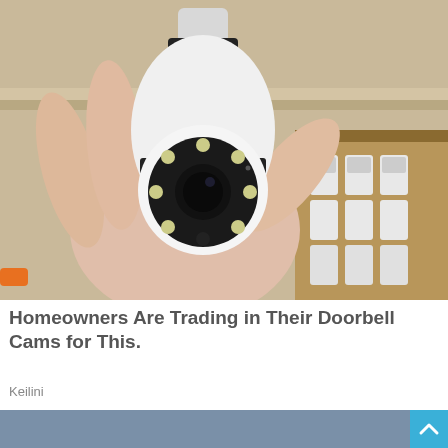[Figure (photo): A hand holding a white bulb-shaped security camera with LED ring and lens, against a background showing cardboard boxes with more cameras]
Homeowners Are Trading in Their Doorbell Cams for This.
Keilini
[Figure (photo): Partially visible second image with blue-grey background, with a blue scroll-to-top button in bottom right corner]